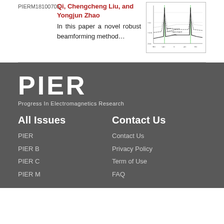PIERM18100705
Qi, Chengcheng Liu, and Yongjun Zhao
In this paper a novel robust beamforming method…
[Figure (continuous-plot): Small thumbnail chart showing beamforming pattern results with multiple curves]
PIER — Progress In Electromagnetics Research
All Issues
PIER
PIER B
PIER C
PIER M
Contact Us
Contact Us
Privacy Policy
Term of Use
FAQ